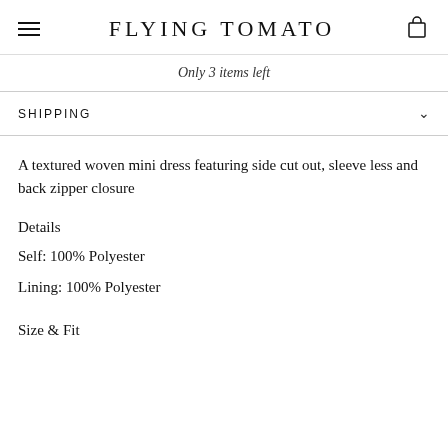FLYING TOMATO
Only 3 items left
SHIPPING
A textured woven mini dress featuring side cut out, sleeve less and back zipper closure
Details
Self: 100% Polyester
Lining: 100% Polyester
Size & Fit